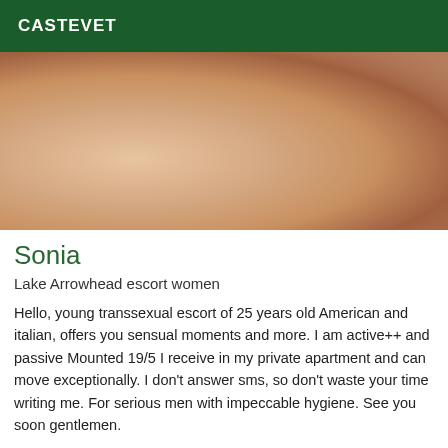CASTEVET
[Figure (photo): Close-up photograph with warm tones, reddish and skin-colored hues]
Sonia
Lake Arrowhead escort women
Hello, young transsexual escort of 25 years old American and italian, offers you sensual moments and more. I am active++ and passive Mounted 19/5 I receive in my private apartment and can move exceptionally. I don't answer sms, so don't waste your time writing me. For serious men with impeccable hygiene. See you soon gentlemen.